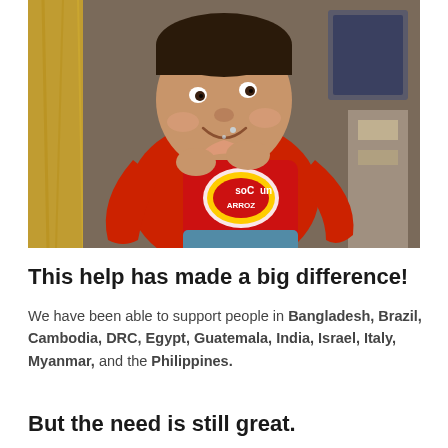[Figure (photo): A young boy in a red long-sleeve shirt smiling and holding a red bag of 'SoCun ARROZ' (rice) product, with a golden curtain visible in the background.]
This help has made a big difference!
We have been able to support people in Bangladesh, Brazil, Cambodia, DRC, Egypt, Guatemala, India, Israel, Italy, Myanmar, and the Philippines.
But the need is still great.